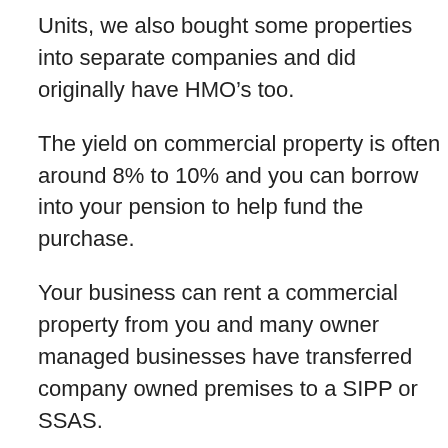Units, we also bought some properties into separate companies and did originally have HMO’s too.
The yield on commercial property is often around 8% to 10% and you can borrow into your pension to help fund the purchase.
Your business can rent a commercial property from you and many owner managed businesses have transferred company owned premises to a SIPP or SSAS.
There have been some very interesting deals done for example
From a music studio in Costa Rica to a yacht berth in the south of France, Sipp (self-invested personal pension) providers report an ever-growing list of exotic assets being bought with pension money to fund investors’ dream